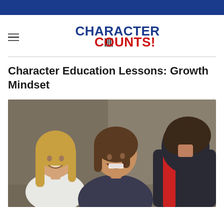CHARACTER COUNTS!
Character Education Lessons: Growth Mindset
[Figure (photo): Three middle-school-aged children sitting together, smiling and interacting. Two girls are visible from the front — one blonde on the left, one with light brown hair in the center laughing broadly — and a boy is shown from the back on the right wearing a dark jacket with red accents.]